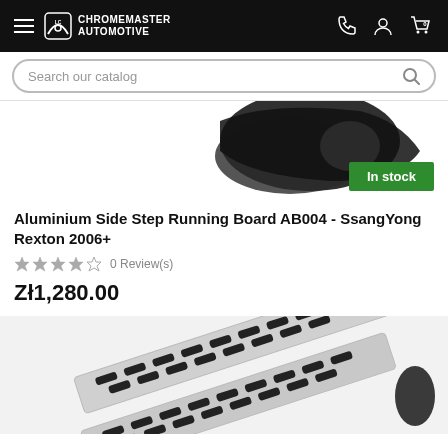CHROMEMASTER AUTOMOTIVE
Search our catalog
[Figure (photo): Partial view of a black automotive side step running board product, shown from above against a white background, with a green 'In stock' badge]
Aluminium Side Step Running Board AB004 - SsangYong Rexton 2006+
0 Review(s)
Zł1,280.00
[Figure (photo): Two aluminium side step running boards with black anti-slip inserts arranged diagonally on a light background]